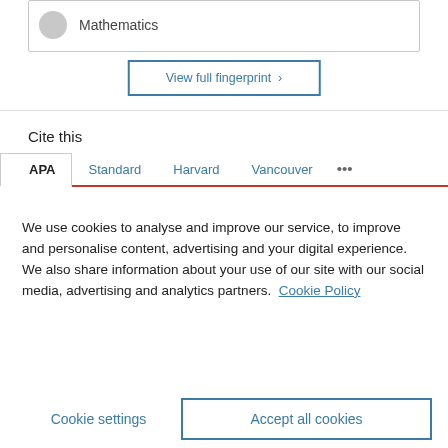Mathematics
View full fingerprint >
Cite this
APA   Standard   Harvard   Vancouver   ...
We use cookies to analyse and improve our service, to improve and personalise content, advertising and your digital experience. We also share information about your use of our site with our social media, advertising and analytics partners.  Cookie Policy
Cookie settings
Accept all cookies